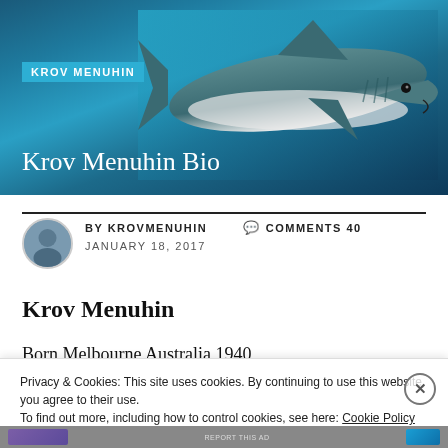[Figure (photo): Hero banner with a great white shark underwater on a dark blue ocean background]
KROV MENUHIN
Krov Menuhin Bio
BY KROVMENUHIN   COMMENTS 40
JANUARY 18, 2017
Krov Menuhin
Born Melbourne Australia 1940
Privacy & Cookies: This site uses cookies. By continuing to use this website, you agree to their use.
To find out more, including how to control cookies, see here: Cookie Policy
Close and accept